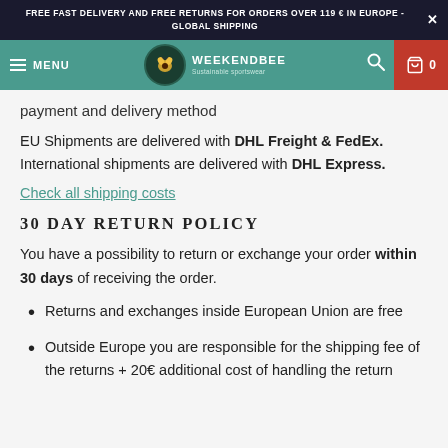FREE FAST DELIVERY AND FREE RETURNS FOR ORDERS OVER 119 € IN EUROPE - GLOBAL SHIPPING
MENU | WEEKENDBEE Sustainable sportswear
payment and delivery method
EU Shipments are delivered with DHL Freight & FedEx. International shipments are delivered with DHL Express.
Check all shipping costs
30 DAY RETURN POLICY
You have a possibility to return or exchange your order within 30 days of receiving the order.
Returns and exchanges inside European Union are free
Outside Europe you are responsible for the shipping fee of the returns + 20€ additional cost of handling the return